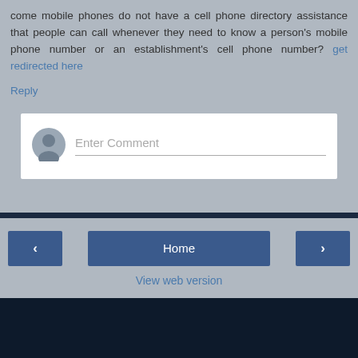come mobile phones do not have a cell phone directory assistance that people can call whenever they need to know a person's mobile phone number or an establishment's cell phone number? get redirected here
Reply
[Figure (other): Comment input box with avatar icon and 'Enter Comment' placeholder text]
Home
View web version